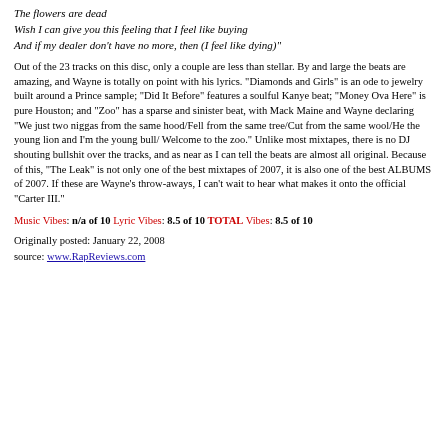The flowers are dead
Wish I can give you this feeling that I feel like buying
And if my dealer don't have no more, then (I feel like dying)"
Out of the 23 tracks on this disc, only a couple are less than stellar. By and large the beats are amazing, and Wayne is totally on point with his lyrics. "Diamonds and Girls" is an ode to jewelry built around a Prince sample; "Did It Before" features a soulful Kanye beat; "Money Ova Here" is pure Houston; and "Zoo" has a sparse and sinister beat, with Mack Maine and Wayne declaring "We just two niggas from the same hood/Fell from the same tree/Cut from the same wool/He the young lion and I'm the young bull/ Welcome to the zoo." Unlike most mixtapes, there is no DJ shouting bullshit over the tracks, and as near as I can tell the beats are almost all original. Because of this, "The Leak" is not only one of the best mixtapes of 2007, it is also one of the best ALBUMS of 2007. If these are Wayne's throw-aways, I can't wait to hear what makes it onto the official "Carter III."
Music Vibes: n/a of 10 Lyric Vibes: 8.5 of 10 TOTAL Vibes: 8.5 of 10
Originally posted: January 22, 2008
source: www.RapReviews.com